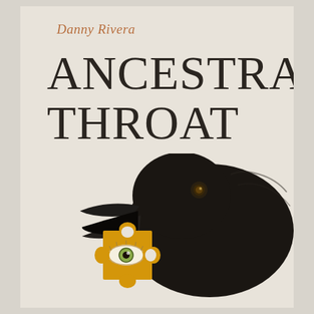Danny Rivera
ANCESTRAL THROAT
[Figure (illustration): A black crow or raven with an open beak holding a golden puzzle piece. The puzzle piece has a realistic human eye painted on it. The bird is rendered in a naturalistic illustration style against a pale beige background.]